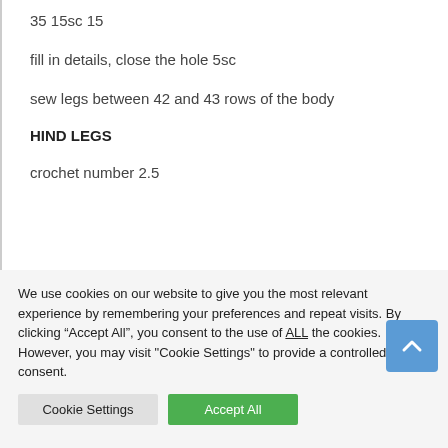35 15sc 15
fill in details, close the hole 5sc
sew legs between 42 and 43 rows of the body
HIND LEGS
crochet number 2.5
We use cookies on our website to give you the most relevant experience by remembering your preferences and repeat visits. By clicking “Accept All”, you consent to the use of ALL the cookies. However, you may visit "Cookie Settings" to provide a controlled consent.